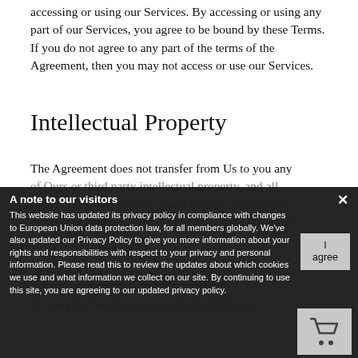accessing or using our Services. By accessing or using any part of our Services, you agree to be bound by these Terms. If you do not agree to any part of the terms of the Agreement, then you may not access or use our Services.
Intellectual Property
The Agreement does not transfer from Us to you any of Ours or third party intellectual property, and all rights, titles, and interest in and to such property will remain (as between the parties) solely with JTK Meat Shoppe and its licensors.
Third Party Services
In using the Services, you may use third-party
[Figure (screenshot): A cookie consent modal overlay with dark background. Title: 'A note to our visitors'. Body text about updated privacy policy and EU data protection law. An 'I agree' button on the right and a shopping cart icon below it. A close (x) button in the top right corner.]